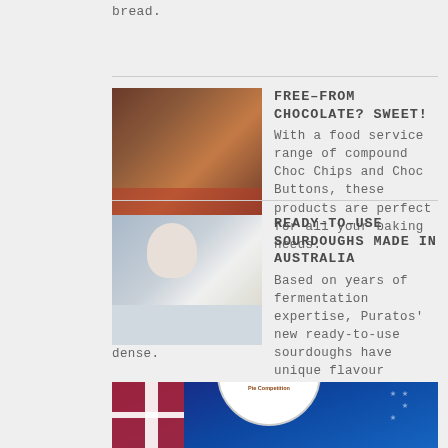bread.
[Figure (photo): Photo of chocolate chip cookies or choc products stacked, with red background]
FREE-FROM CHOCOLATE? SWEET!
With a food service range of compound Choc Chips and Choc Buttons, these products are perfect for all your baking needs.
[Figure (photo): Photo of a chef working with sourdough in a bakery]
READY-TO-USE SOURDOUGHS MADE IN AUSTRALIA
Based on years of fermentation expertise, Puratos' new ready-to-use sourdoughs have unique flavour profiles and are nutrient dense.
[Figure (photo): Australian flag background with The Official Great Aussie Pie Competition circular badge logo]